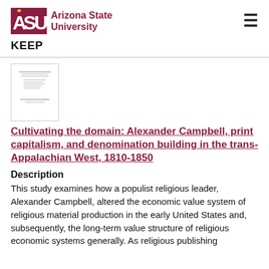[Figure (logo): Arizona State University logo with ASU text in maroon and gold sunburst icon]
KEEP
[Figure (screenshot): Thumbnail image of a document title page with small text]
Cultivating the domain: Alexander Campbell, print capitalism, and denomination building in the trans-Appalachian West, 1810-1850
Description
This study examines how a populist religious leader, Alexander Campbell, altered the economic value system of religious material production in the early United States and, subsequently, the long-term value structure of religious economic systems generally. As religious publishing